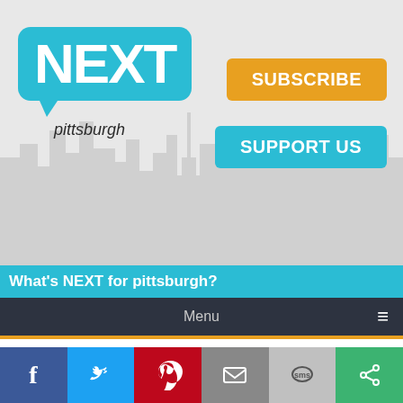[Figure (screenshot): NEXTpittsburgh website header with cyan speech-bubble logo showing NEXT and pittsburgh text, city skyline silhouette background, orange SUBSCRIBE button and cyan SUPPORT US button on right]
What's NEXT for pittsburgh?
Menu
Use your hands to gently rub a small bunch of fresh leaves inside the cup. If you prefer a muddler, use it softly, being careful not to bruise the leaves, which will release chlorophyll and a bitter taste. Keep or discard the leaves in the cup depending on whether you want to taste more mint or more whiskey in your julep.
Next, add a tablespoon (1/2 oz.) or less of rich sugar syrup. Make the...
[Figure (screenshot): Social sharing bar with Facebook (blue), Twitter (light blue), Pinterest (red), Email (grey), SMS (light grey), and share (green) icon buttons]